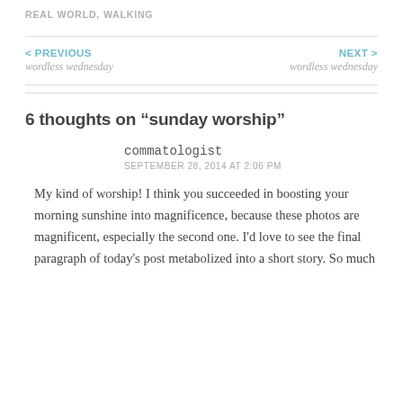REAL WORLD, WALKING
< PREVIOUS
wordless wednesday
NEXT >
wordless wednesday
6 thoughts on “sunday worship”
commatologist
SEPTEMBER 28, 2014 AT 2:06 PM
My kind of worship! I think you succeeded in boosting your morning sunshine into magnificence, because these photos are magnificent, especially the second one. I’d love to see the final paragraph of today’s post metabolized into a short story. So much